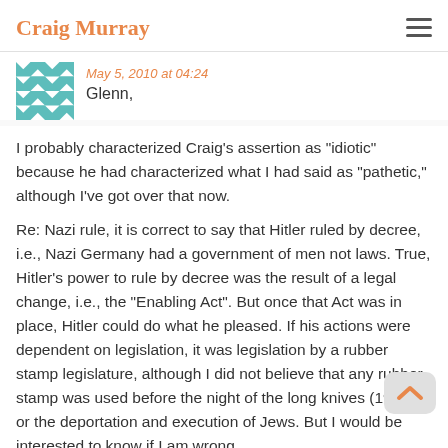Craig Murray
May 5, 2010 at 04:24
Glenn,
I probably characterized Craig's assertion as "idiotic" because he had characterized what I had said as "pathetic," although I've got over that now.
Re: Nazi rule, it is correct to say that Hitler ruled by decree, i.e., Nazi Germany had a government of men not laws. True, Hitler's power to rule by decree was the result of a legal change, i.e., the "Enabling Act". But once that Act was in place, Hitler could do what he pleased. If his actions were dependent on legislation, it was legislation by a rubber stamp legislature, although I did not believe that any rubber stamp was used before the night of the long knives (1934) or the deportation and execution of Jews. But I would be interested to know if I am wrong.
If Craig believes that Cameron would seek to rule by decree I would characterize that as, well, um… paranoid, anyhow.